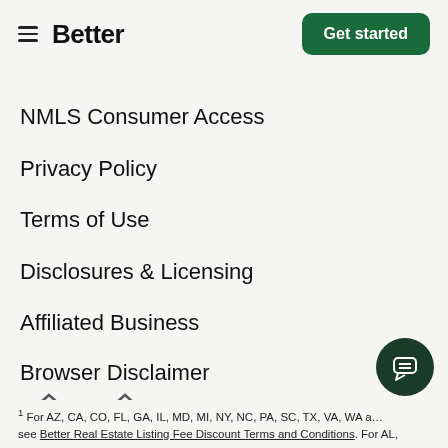Better | Get started
NMLS Consumer Access
Privacy Policy
Terms of Use
Disclosures & Licensing
Affiliated Business
Browser Disclaimer
[Figure (logo): Equal Housing Opportunity logo and Equal Housing Lender logo]
[Figure (illustration): Chat support button (dark green circle with chat icon)]
1 For AZ, CA, CO, FL, GA, IL, MD, MI, NY, NC, PA, SC, TX, VA, WA a... see Better Real Estate Listing Fee Discount Terms and Conditions. For AL,